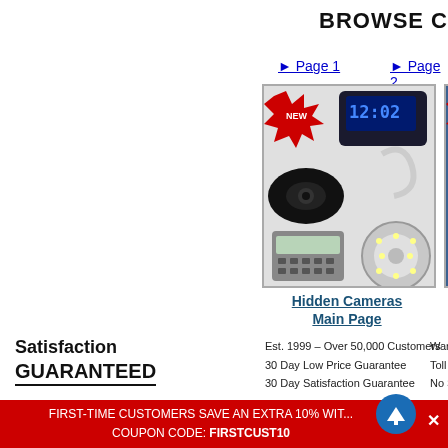BROWSE C
► Page 1
[Figure (photo): Hidden cameras product collage: clock, bag camera, hook camera, calculator camera, LED light camera]
Hidden Cameras Main Page
► Page 2
[Figure (photo): DVR Hidden Camera product image with memory card and 'Built-In DVR Series' label on blue background]
DVR Hidden Came...
Satisfaction
GUARANTEED
Est. 1999 – Over 50,000 Customers
30 Day Low Price Guarantee
30 Day Satisfaction Guarantee
Warn...
Toll F...
No S...
Ordering
View Cart
Account Login
Terms of Sale
More Info
Testimonials
Recording Laws
Resellers Information
FIRST-TIME CUSTOMERS SAVE AN EXTRA 10% WIT... COUPON CODE: FIRSTCUST10